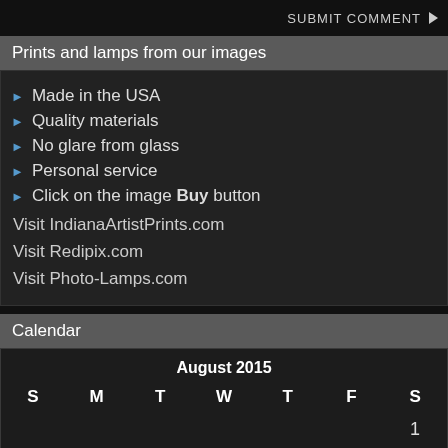SUBMIT COMMENT
Prints and lamps from our images
Made in the USA
Quality materials
No glare from glass
Personal service
Click on the image Buy button
Visit IndianaArtistPrints.com
Visit Redipix.com
Visit Photo-Lamps.com
Calendar
| S | M | T | W | T | F | S |
| --- | --- | --- | --- | --- | --- | --- |
|  |  |  |  |  |  | 1 |
| 2 | 3 | 4 | 5 | 6 | 7 | 8 |
| 9 | 10 | 11 | 12 | 13 | 14 | 15 |
| 16 | 17 | 18 | 19 | 20 | 21 | 22 |